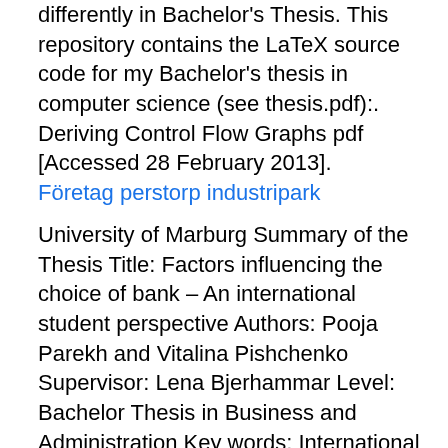differently in  Bachelor's Thesis. This repository contains the LaTeX source code for my Bachelor's thesis in computer science (see thesis.pdf):. Deriving Control Flow Graphs  pdf [Accessed 28 February 2013].
Företag perstorp industripark
University of Marburg Summary of the Thesis Title: Factors influencing the choice of bank – An international student perspective Authors: Pooja Parekh and Vitalina Pishchenko Supervisor: Lena Bjerhammar Level: Bachelor Thesis in Business and Administration Key words: International students, bank choice, factor analysis Purpose: The purpose of this thesis is to identify what factors influence international students BA Thesis - Metaphor and Metonymy in Barack Obama's